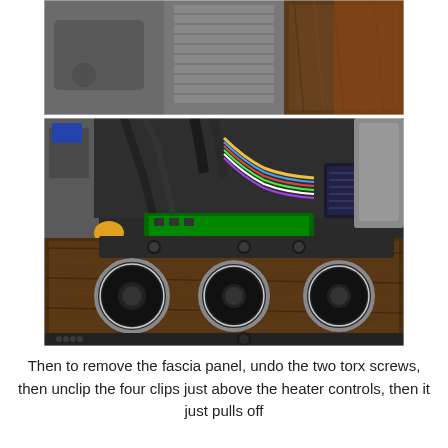[Figure (photo): Close-up photo of a car interior dashboard area showing the center console trim panel being partially removed, with grey plastic panels visible and a wooden trim piece on the right side.]
[Figure (photo): Photo of a car interior center console with the fascia panel pulled away, revealing wiring harnesses and electronic components behind the dashboard. The heater control panel with three large rotary knobs on a wood-grain trim is visible in the lower portion.]
Then to remove the fascia panel, undo the two torx screws, then unclip the four clips just above the heater controls, then it just pulls off